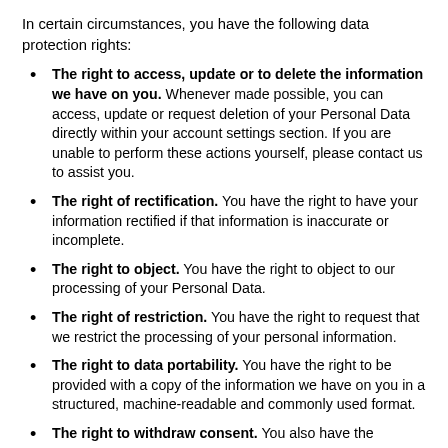In certain circumstances, you have the following data protection rights:
The right to access, update or to delete the information we have on you. Whenever made possible, you can access, update or request deletion of your Personal Data directly within your account settings section. If you are unable to perform these actions yourself, please contact us to assist you.
The right of rectification. You have the right to have your information rectified if that information is inaccurate or incomplete.
The right to object. You have the right to object to our processing of your Personal Data.
The right of restriction. You have the right to request that we restrict the processing of your personal information.
The right to data portability. You have the right to be provided with a copy of the information we have on you in a structured, machine-readable and commonly used format.
The right to withdraw consent. You also have the